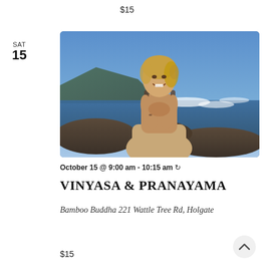$15
SAT
15
[Figure (photo): A young woman in a yoga prayer pose (anjali mudra) with hands pressed together at chest, wearing a tan sports top and high-waist pants, smiling, with ocean waves and rocky coastline in the background under a blue sky.]
October 15 @ 9:00 am - 10:15 am ↻
VINYASA & PRANAYAMA
Bamboo Buddha 221 Wattle Tree Rd, Holgate
$15